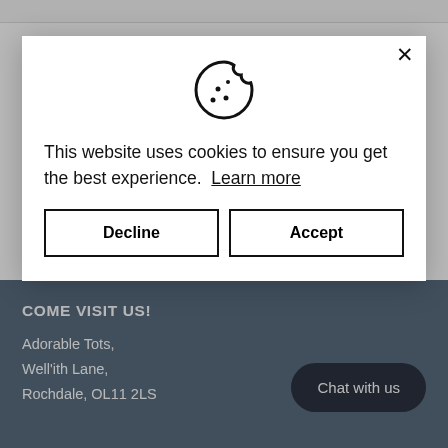[Figure (screenshot): Cookie consent modal dialog with cookie icon, dismiss X button, explanatory text, Decline and Accept buttons overlaid on a website]
This website uses cookies to ensure you get the best experience. Learn more
Decline
Accept
appointments with our Nursery Specialist
COME VISIT US!
Adorable Tots,
Well'ith Lane,
Rochdale, OL11 2LS
Chat with us